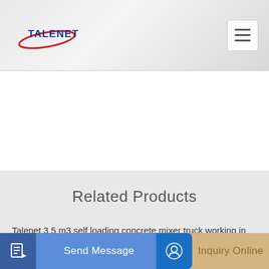[Figure (logo): TALENET company logo with red swoosh ellipse and blue bold text]
Related Products
Talenet 3 5 m3 self loading concrete mixer truck working in
Competitive Price than a Concrete Batching Plant for sale 90m3 h
120 M3 H Ready Mix Concrete Mixing Plant
Send Message
Inquiry Online